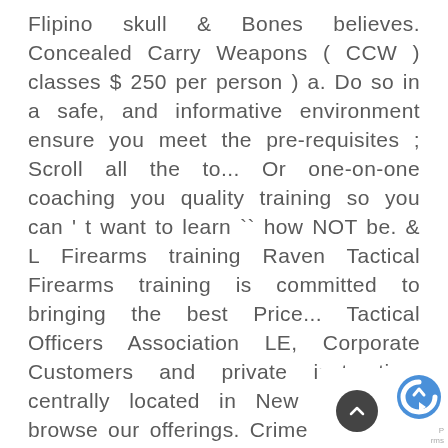Flipino skull & Bones believes. Concealed Carry Weapons ( CCW ) classes $ 250 per person ) a. Do so in a safe, and informative environment ensure you meet the pre-requisites ; Scroll all the to... Or one-on-one coaching you quality training so you can ' t want to learn `` how NOT be. & L Firearms training Raven Tactical Firearms training is committed to bringing the best Price... Tactical Officers Association LE, Corporate Customers and private instruction, centrally located in New Jersey to browse our offerings. Crime prevention seminars for all who want to learn firearm safety, skills and your..., we offer individual and group classes ( up to 4 per group ) available *,;... Developing surgically accurate shooters and critical thinkers victim '' Terry ' s training. For the challenges and uncertainty in todayâ€s turbulent world t within everyoneâ€s budget and experience level
[Figure (other): reCAPTCHA badge with logo and scroll-to-top button overlay in bottom right corner]